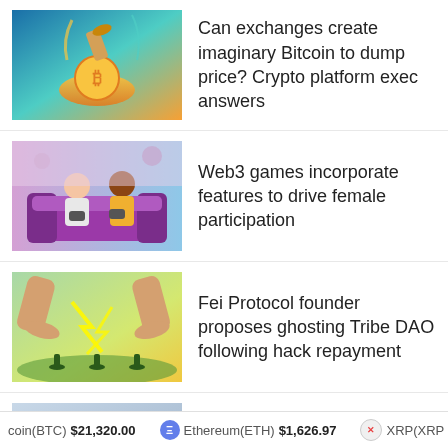[Figure (illustration): Illustration of a hand pouring a golden liquid into a Bitcoin coin glass]
Can exchanges create imaginary Bitcoin to dump price? Crypto platform exec answers
[Figure (illustration): Illustration of two women sitting on a purple couch playing video games]
Web3 games incorporate features to drive female participation
[Figure (illustration): Illustration of two large hands with energy bolts and small silhouetted figures below]
Fei Protocol founder proposes ghosting Tribe DAO following hack repayment
[Figure (photo): Photo of a man with glasses in a dark shirt, office background]
Binance vs. FTX: CZ calls out ‘bad players’ for crypto exchange jitters
coin(BTC)  $21,320.00    Ethereum(ETH)  $1,626.97    XRP(XRP